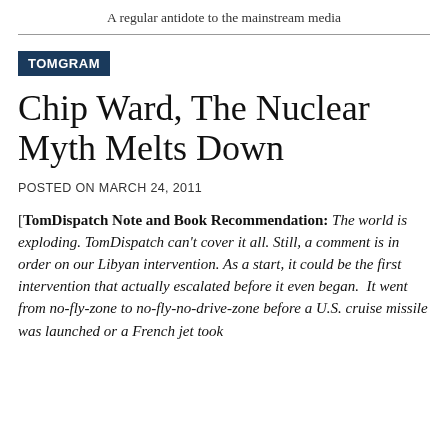A regular antidote to the mainstream media
TOMGRAM
Chip Ward, The Nuclear Myth Melts Down
POSTED ON MARCH 24, 2011
[TomDispatch Note and Book Recommendation: The world is exploding. TomDispatch can't cover it all. Still, a comment is in order on our Libyan intervention. As a start, it could be the first intervention that actually escalated before it even began.  It went from no-fly-zone to no-fly-no-drive-zone before a U.S. cruise missile was launched or a French jet took